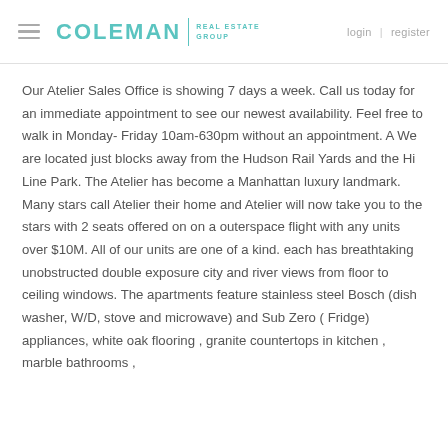≡  COLEMAN | REAL ESTATE GROUP    login | register
Our Atelier Sales Office is showing 7 days a week. Call us today for an immediate appointment to see our newest availability. Feel free to walk in Monday- Friday 10am-630pm without an appointment. A We are located just blocks away from the Hudson Rail Yards and the Hi Line Park. The Atelier has become a Manhattan luxury landmark. Many stars call Atelier their home and Atelier will now take you to the stars with 2 seats offered on on a outerspace flight with any units over $10M. All of our units are one of a kind. each has breathtaking unobstructed double exposure city and river views from floor to ceiling windows. The apartments feature stainless steel Bosch (dish washer, W/D, stove and microwave) and Sub Zero ( Fridge) appliances, white oak flooring , granite countertops in kitchen , marble bathrooms , and …